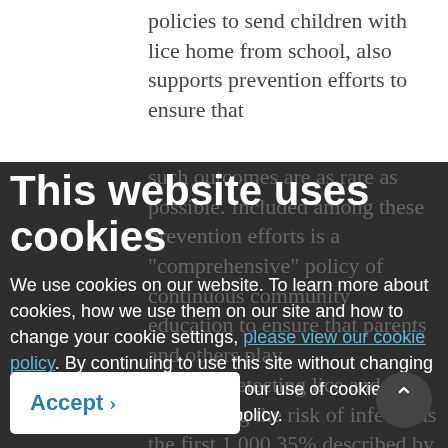policies to send children with lice home from school, also supports prevention efforts to ensure that
such outcomes are as rare as possible. Included among these prevention efforts is a "comprehensive" policy of continuous community education to ensure that parents and others play a role in detecting lice and minimizing the risk of infections the first 1,000 35% described by Deborah Altschuler, such education ensures against the sort of complacency that may adversely affect children who experience its consequences:
This website uses cookies
We use cookies on our website. To learn more about cookies, how we use them on our site and how to change your cookie settings, please view our cookie policy. By continuing to use this site without changing your settings, you consent to our use of cookies in accordance with our cookie policy.
Accept >